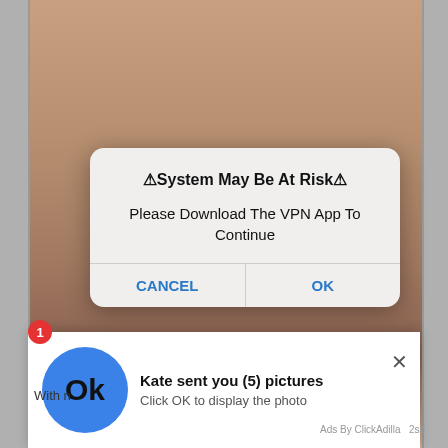[Figure (screenshot): Screenshot of a mobile browser showing adult content in the background with a fake system alert dialog overlay and a fake notification bar at the bottom. The dialog reads '⚠System May Be At Risk⚠ / Please Download The VPN App To Continue' with CANCEL and OK buttons. The bottom notification shows 'Kate sent you (5) pictures / Click OK to display the photo' with an Ok button icon, a red badge '1', a close X button, and 'Ads By ClickAdilla 2sd' footer text. Below the notification is partial text 'With n'.]